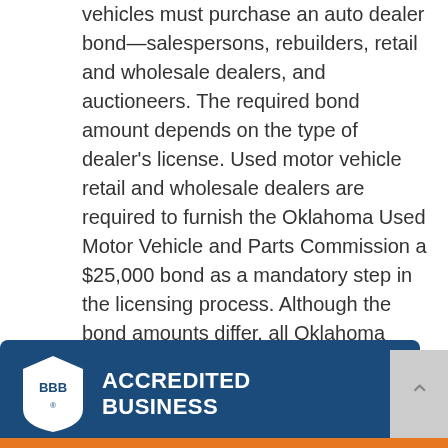vehicles must purchase an auto dealer bond—salespersons, rebuilders, retail and wholesale dealers, and auctioneers. The required bond amount depends on the type of dealer's license. Used motor vehicle retail and wholesale dealers are required to furnish the Oklahoma Used Motor Vehicle and Parts Commission a $25,000 bond as a mandatory step in the licensing process. Although the bond amounts differ, all Oklahoma auto dealer bonds have a two-year term. There must always be an active bond in force to prevent the loss of the dealer's license.
Speak with a Surety Bond Professionals agent today to discuss your bonding needs.
[Figure (logo): BBB Accredited Business badge with dark blue background, BBB shield logo on left and 'ACCREDITED BUSINESS' text in white on right]